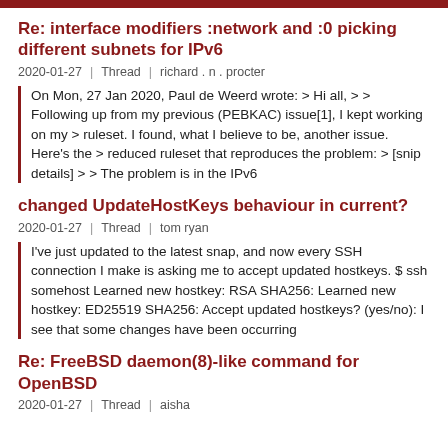Re: interface modifiers :network and :0 picking different subnets for IPv6
2020-01-27  |  Thread  |  richard . n . procter
On Mon, 27 Jan 2020, Paul de Weerd wrote: > Hi all, > > Following up from my previous (PEBKAC) issue[1], I kept working on my > ruleset. I found, what I believe to be, another issue. Here's the > reduced ruleset that reproduces the problem: > [snip details] > > The problem is in the IPv6
changed UpdateHostKeys behaviour in current?
2020-01-27  |  Thread  |  tom ryan
I've just updated to the latest snap, and now every SSH connection I make is asking me to accept updated hostkeys. $ ssh somehost Learned new hostkey: RSA SHA256: Learned new hostkey: ED25519 SHA256: Accept updated hostkeys? (yes/no): I see that some changes have been occurring
Re: FreeBSD daemon(8)-like command for OpenBSD
2020-01-27  |  Thread  |  aisha